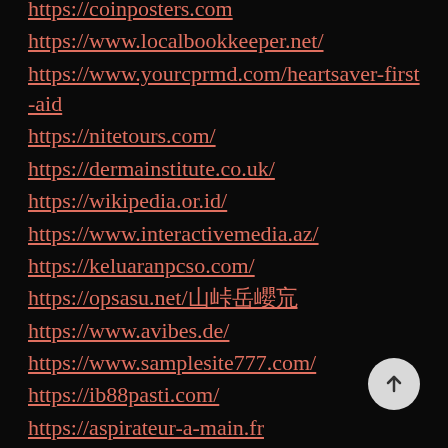https://coinposters.com
https://www.localbookkeeper.net/
https://www.yourcprmd.com/heartsaver-first-aid
https://nitetours.com/
https://dermainstitute.co.uk/
https://wikipedia.or.id/
https://www.interactivemedia.az/
https://keluaranpcso.com/
https://opsasu.net/山峠岳巊巟
https://www.avibes.de/
https://www.samplesite777.com/
https://ib88pasti.com/
https://aspirateur-a-main.fr
https://traveldestinationaddicts.com/
https://safeplayground.net/
https://safe-kim.com/